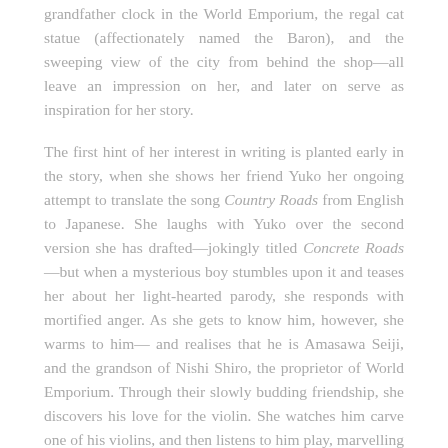grandfather clock in the World Emporium, the regal cat statue (affectionately named the Baron), and the sweeping view of the city from behind the shop—all leave an impression on her, and later on serve as inspiration for her story.
The first hint of her interest in writing is planted early in the story, when she shows her friend Yuko her ongoing attempt to translate the song Country Roads from English to Japanese. She laughs with Yuko over the second version she has drafted—jokingly titled Concrete Roads—but when a mysterious boy stumbles upon it and teases her about her light-hearted parody, she responds with mortified anger. As she gets to know him, however, she warms to him— and realises that he is Amasawa Seiji, and the grandson of Nishi Shiro, the proprietor of World Emporium. Through their slowly budding friendship, she discovers his love for the violin. She watches him carve one of his violins, and then listens to him play, marvelling at his passion for